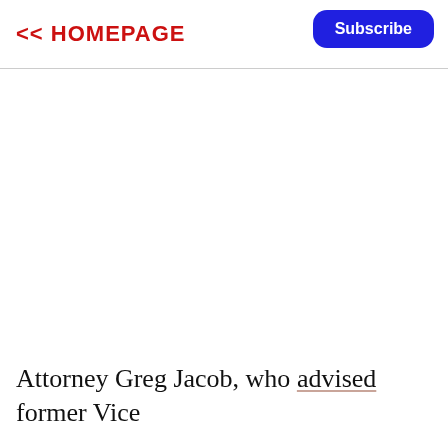<< HOMEPAGE
Subscribe
Attorney Greg Jacob, who advised former Vice